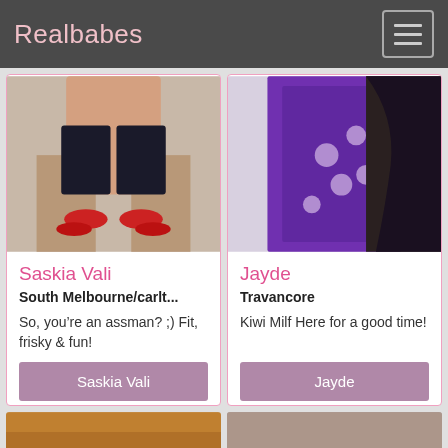Realbabes
[Figure (photo): Photo card for Saskia Vali showing person in black lingerie with red heels]
Saskia Vali
South Melbourne/carlt...
So, you’re an assman? ;) Fit, frisky & fun!
Saskia Vali
[Figure (photo): Photo card for Jayde showing person in purple polka dot dress]
Jayde
Travancore
Kiwi Milf Here for a good time!
Jayde
[Figure (photo): Partial bottom thumbnail image left]
[Figure (photo): Partial bottom thumbnail image right]